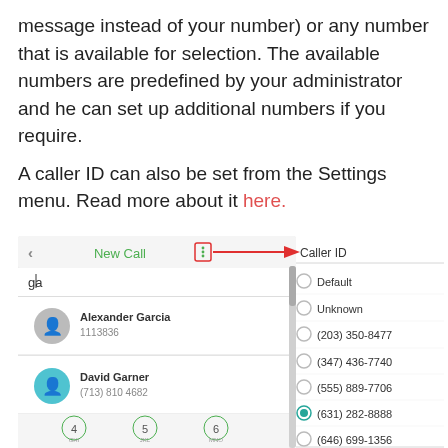message instead of your number) or any number that is available for selection. The available numbers are predefined by your administrator and he can set up additional numbers if you require.
A caller ID can also be set from the Settings menu. Read more about it here.
[Figure (screenshot): Screenshot of a mobile app showing a 'New Call' screen with a three-dot menu icon annotated with a red arrow pointing to 'Caller ID' label. The left side shows a phone dialer UI with contacts 'Alexander Garcia' and 'David Garner'. The right side shows a Caller ID dropdown menu with radio button options: Default, Unknown, (203) 350-8477, (347) 436-7740, (555) 889-7706, (631) 282-8888 (selected, teal), (646) 699-1356.]